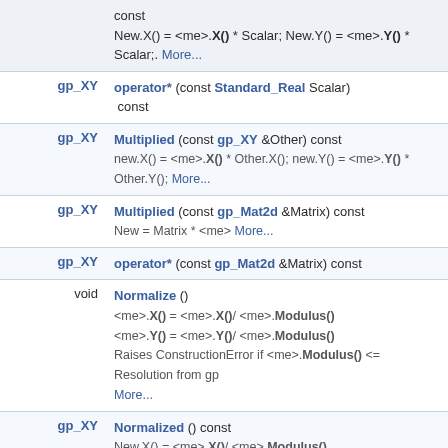| Return | Method/Description |
| --- | --- |
|  | const
New.X() = <me>.X() * Scalar; New.Y() = <me>.Y() * Scalar;. More... |
| gp_XY | operator* (const Standard_Real Scalar) const |
| gp_XY | Multiplied (const gp_XY &Other) const
new.X() = <me>.X() * Other.X(); new.Y() = <me>.Y() * Other.Y(); More... |
| gp_XY | Multiplied (const gp_Mat2d &Matrix) const
New = Matrix * <me> More... |
| gp_XY | operator* (const gp_Mat2d &Matrix) const |
| void | Normalize ()
<me>.X() = <me>.X()/ <me>.Modulus()
<me>.Y() = <me>.Y()/ <me>.Modulus()
Raises ConstructionError if <me>.Modulus() <= Resolution from gp More... |
| gp_XY | Normalized () const
New.X() = <me>.X()/ <me>.Modulus() |